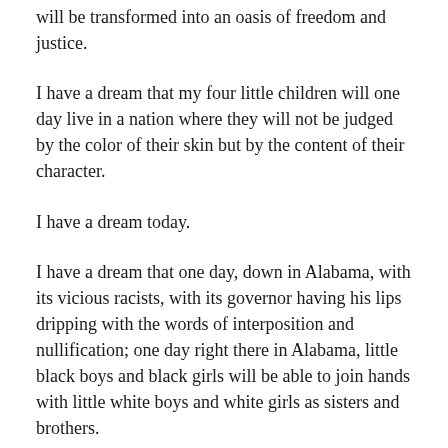will be transformed into an oasis of freedom and justice.
I have a dream that my four little children will one day live in a nation where they will not be judged by the color of their skin but by the content of their character.
I have a dream today.
I have a dream that one day, down in Alabama, with its vicious racists, with its governor having his lips dripping with the words of interposition and nullification; one day right there in Alabama, little black boys and black girls will be able to join hands with little white boys and white girls as sisters and brothers.
I have a dream today.